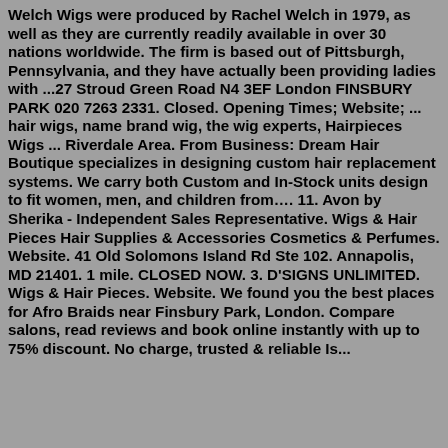Welch Wigs were produced by Rachel Welch in 1979, as well as they are currently readily available in over 30 nations worldwide. The firm is based out of Pittsburgh, Pennsylvania, and they have actually been providing ladies with ...27 Stroud Green Road N4 3EF London FINSBURY PARK 020 7263 2331. Closed. Opening Times; Website; ... hair wigs, name brand wig, the wig experts, Hairpieces Wigs ... Riverdale Area. From Business: Dream Hair Boutique specializes in designing custom hair replacement systems. We carry both Custom and In-Stock units design to fit women, men, and children from…. 11. Avon by Sherika - Independent Sales Representative. Wigs & Hair Pieces Hair Supplies & Accessories Cosmetics & Perfumes. Website. 41 Old Solomons Island Rd Ste 102. Annapolis, MD 21401. 1 mile. CLOSED NOW. 3. D'SIGNS UNLIMITED. Wigs & Hair Pieces. Website. We found you the best places for Afro Braids near Finsbury Park, London. Compare salons, read reviews and book online instantly with up to 75% discount. No charge, trusted & reliable Is...